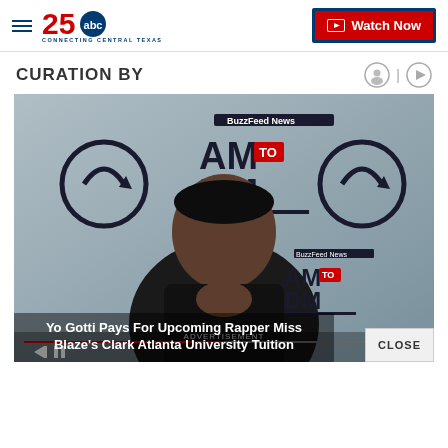KXXV 25 ABC Connecting Central Texas | Watch Now
CURATION BY
[Figure (screenshot): Video player showing a man in a black puffer jacket with hands pressed together in a prayer pose, standing in front of a BuzzFeed News AM to DM branded backdrop. Pause and rewind controls visible at bottom. 'CLOSE' button in bottom right corner. Advertisement label and video title overlay at bottom.]
Yo Gotti Pays For Upcoming Rapper Miss Blaze's Clark Atlanta University Tuition